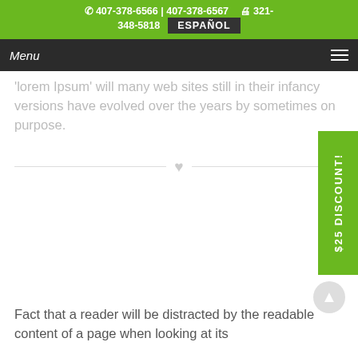✆ 407-378-6566 | 407-378-6567   🖨 321-348-5818   ESPAÑOL
Menu
'lorem Ipsum' will many web sites still in their infancy versions have evolved over the years by sometimes on purpose.
[Figure (illustration): Horizontal divider line with a heart icon in the center]
Fact that a reader will be distracted by the readable content of a page when looking at its